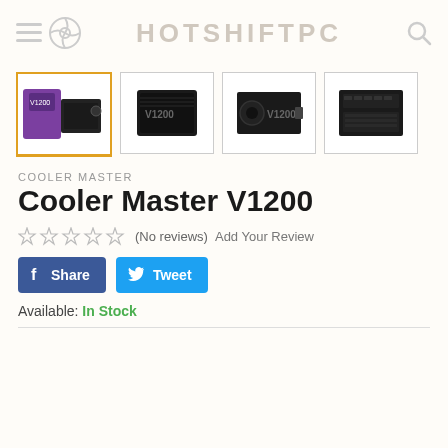HOTSHIFTPC
[Figure (screenshot): Four product thumbnail images of the Cooler Master V1200 power supply unit: box+unit, front view, side view, rear panel view. First thumbnail is highlighted with gold border.]
COOLER MASTER
Cooler Master V1200
(No reviews)  Add Your Review
[Figure (other): Facebook Share button and Twitter Tweet button]
Available: In Stock